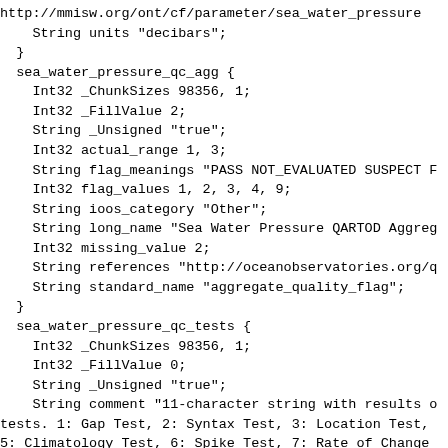http://mmisw.org/ont/cf/parameter/sea_water_pressure
    String units "decibars";
  }
  sea_water_pressure_qc_agg {
    Int32 _ChunkSizes 98356, 1;
    Int32 _FillValue 2;
    String _Unsigned "true";
    Int32 actual_range 1, 3;
    String flag_meanings "PASS NOT_EVALUATED SUSPECT F
    Int32 flag_values 1, 2, 3, 4, 9;
    String ioos_category "Other";
    String long_name "Sea Water Pressure QARTOD Aggreg
    Int32 missing_value 2;
    String references "http://oceanobservatories.org/q
    String standard_name "aggregate_quality_flag";
  }
  sea_water_pressure_qc_tests {
    Int32 _ChunkSizes 98356, 1;
    Int32 _FillValue 0;
    String _Unsigned "true";
    String comment "11-character string with results o
tests. 1: Gap Test, 2: Syntax Test, 3: Location Test,
5: Climatology Test, 6: Spike Test, 7: Rate of Change
Test, 9: Multi-variate Test, 10: Attenuated Signal Tes
    String flag_meanings "PASS NOT_EVALUATED SUSPECT F
    Int32 flag_values 1, 2, 3, 4, 9;